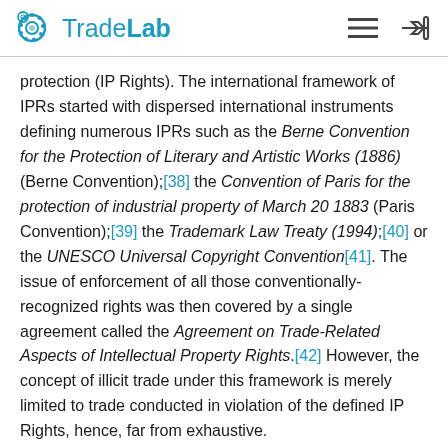TradeLab
protection (IP Rights). The international framework of IPRs started with dispersed international instruments defining numerous IPRs such as the Berne Convention for the Protection of Literary and Artistic Works (1886) (Berne Convention);[38] the Convention of Paris for the protection of industrial property of March 20 1883 (Paris Convention);[39] the Trademark Law Treaty (1994);[40] or the UNESCO Universal Copyright Convention[41]. The issue of enforcement of all those conventionally-recognized rights was then covered by a single agreement called the Agreement on Trade-Related Aspects of Intellectual Property Rights.[42] However, the concept of illicit trade under this framework is merely limited to trade conducted in violation of the defined IP Rights, hence, far from exhaustive.
Illicit trade continues from...